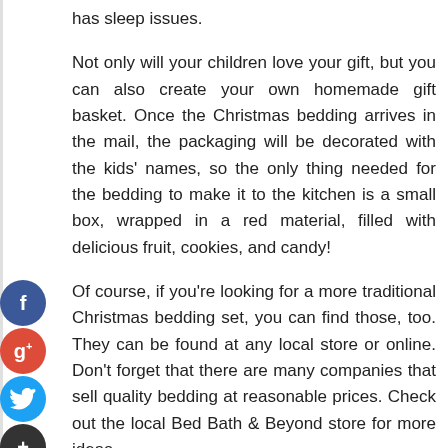has sleep issues.
Not only will your children love your gift, but you can also create your own homemade gift basket. Once the Christmas bedding arrives in the mail, the packaging will be decorated with the kids' names, so the only thing needed for the bedding to make it to the kitchen is a small box, wrapped in a red material, filled with delicious fruit, cookies, and candy!
Of course, if you're looking for a more traditional Christmas bedding set, you can find those, too. They can be found at any local store or online. Don't forget that there are many companies that sell quality bedding at reasonable prices. Check out the local Bed Bath & Beyond store for more ideas.
For your child's bedroom, Christmas bedding is the perfect addition. Give them a head start to Christmas morning, and have a great Christmas!